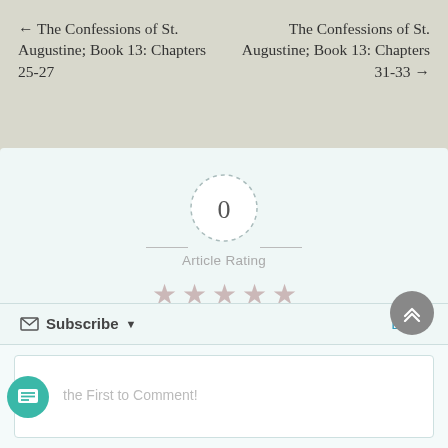← The Confessions of St. Augustine; Book 13: Chapters 25-27
The Confessions of St. Augustine; Book 13: Chapters 31-33 →
[Figure (infographic): Article rating widget showing a dashed circle with '0' in the center, dash lines on either side, 'Article Rating' label, and 5 empty/grey star icons below]
Subscribe ▼
Login
the First to Comment!